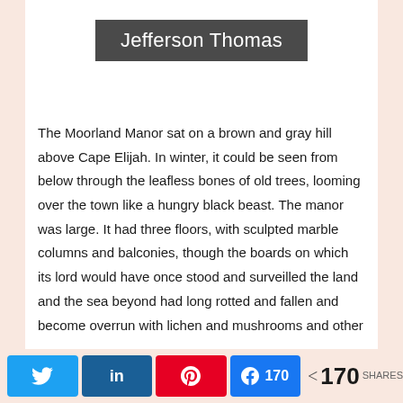Jefferson Thomas
The Moorland Manor sat on a brown and gray hill above Cape Elijah. In winter, it could be seen from below through the leafless bones of old trees, looming over the town like a hungry black beast. The manor was large. It had three floors, with sculpted marble columns and balconies, though the boards on which its lord would have once stood and surveilled the land and the sea beyond had long rotted and fallen and become overrun with lichen and mushrooms and other
Twitter | in LinkedIn | Pinterest | Facebook 170 | < 170 SHARES